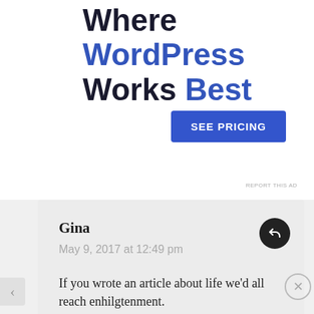Where WordPress Works Best
[Figure (screenshot): Blue 'SEE PRICING' button]
REPORT THIS AD
Gina
May 9, 2017 at 12:49 pm
If you wrote an article about life we'd all reach enhilgtenment.
★ Like
Advertisements
[Figure (screenshot): DuckDuckGo ad banner: Search, browse, and email with more privacy. All in One Free App. DuckDuckGo logo.]